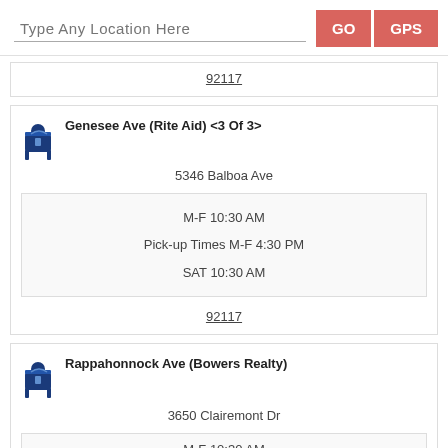Type Any Location Here | GO | GPS
92117
Genesee Ave (Rite Aid) <3 Of 3>
5346 Balboa Ave
M-F 10:30 AM
Pick-up Times M-F 4:30 PM
SAT 10:30 AM
92117
Rappahonnock Ave (Bowers Realty)
3650 Clairemont Dr
M-F 10:30 AM